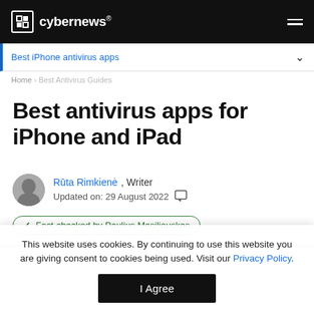cybernews®
Best iPhone antivirus apps
Home › Best Antivirus Guides
Best antivirus apps for iPhone and iPad
Rūta Rimkienė , Writer
Updated on: 29 August 2022
✓ Fact-checked by Paulius Masiliauskas
This website uses cookies. By continuing to use this website you are giving consent to cookies being used. Visit our Privacy Policy.
I Agree